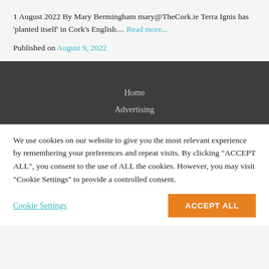1 August 2022 By Mary Bermingham mary@TheCork.ie Terra Ignis has 'planted itself' in Cork's English… Read more...
Published on August 9, 2022
Home
Advertising
We use cookies on our website to give you the most relevant experience by remembering your preferences and repeat visits. By clicking "ACCEPT ALL", you consent to the use of ALL the cookies. However, you may visit "Cookie Settings" to provide a controlled consent.
Cookie Settings    ACCEPT ALL